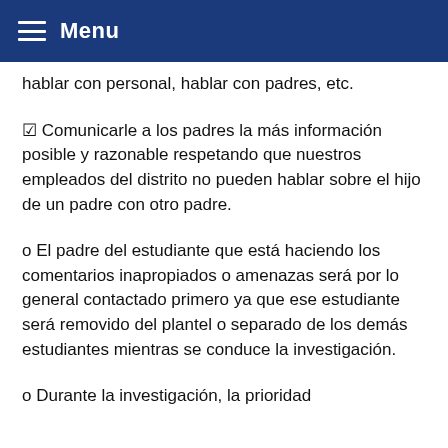Menu
hablar con personal, hablar con padres, etc.
✦ Comunicarle a los padres la más información posible y razonable respetando que nuestros empleados del distrito no pueden hablar sobre el hijo de un padre con otro padre.
o El padre del estudiante que está haciendo los comentarios inapropiados o amenazas será por lo general contactado primero ya que ese estudiante será removido del plantel o separado de los demás estudiantes mientras se conduce la investigación.
o Durante la investigación, la prioridad